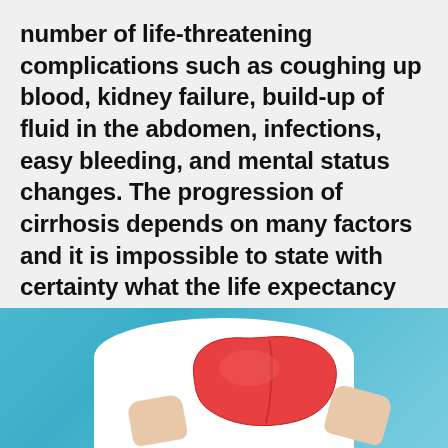number of life-threatening complications such as coughing up blood, kidney failure, build-up of fluid in the abdomen, infections, easy bleeding, and mental status changes. The progression of cirrhosis depends on many factors and it is impossible to state with certainty what the life expectancy will be for every person.
[Figure (photo): A person wearing a white shirt holding a red liver anatomical model against a blue background. The image is cropped to show the torso area with hands holding the liver model.]